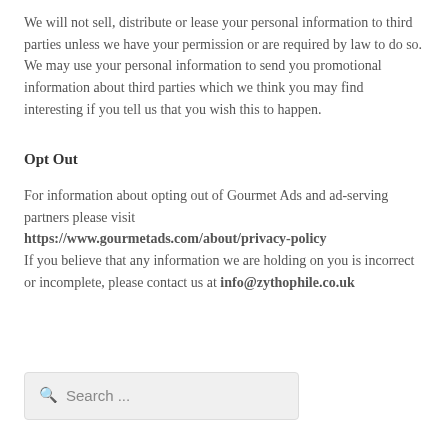We will not sell, distribute or lease your personal information to third parties unless we have your permission or are required by law to do so. We may use your personal information to send you promotional information about third parties which we think you may find interesting if you tell us that you wish this to happen.
Opt Out
For information about opting out of Gourmet Ads and ad-serving partners please visit https://www.gourmetads.com/about/privacy-policy If you believe that any information we are holding on you is incorrect or incomplete, please contact us at info@zythophile.co.uk
[Figure (other): Search box with magnifying glass icon and placeholder text 'Search ...']